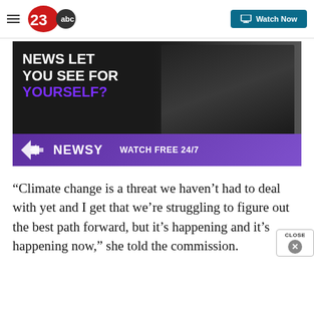23abc | Watch Now
[Figure (screenshot): Newsy advertisement banner: 'NEWS LET YOU SEE FOR YOURSELF?' with dark background showing silhouetted figures, and purple Newsy bar at bottom saying 'WATCH FREE 24/7']
“Climate change is a threat we haven’t had to deal with yet and I get that we’re struggling to figure out the best path forward, but it’s happening and it’s happening now,” she told the commission.